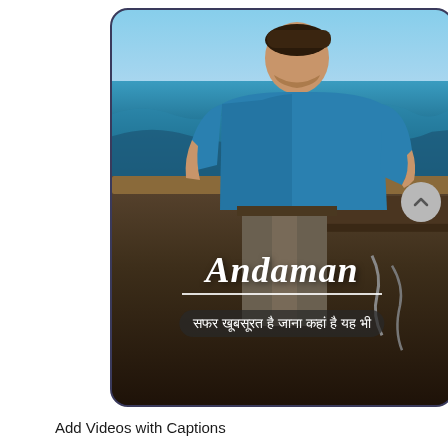[Figure (screenshot): A mobile phone screenshot showing a man in a blue t-shirt and head wrap sitting on a boat, looking out at the ocean. Overlaid text reads 'Andaman' in italic script with an underline, and a Hindi subtitle 'सफर खूबसूरत है जाना कहां है यह भी' in a dark pill-shaped caption box. A grey circular scroll-up button appears to the right of the phone screen.]
Add Videos with Captions